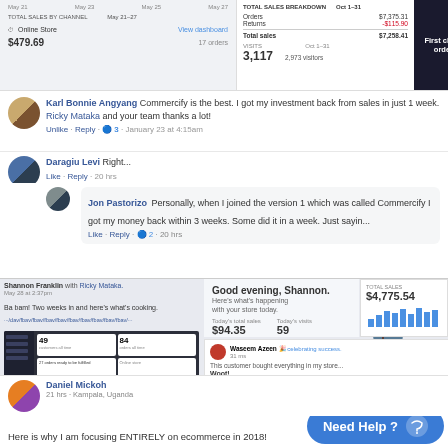[Figure (screenshot): Top strip showing sales dashboard screenshots: Total Sales by Channel (May 21-27, Online Store $479.69, 17 orders, View dashboard), Total Sales Breakdown (Orders $7,375.31, Returns -$115.90, Total sales $7,258.41, Visits Oct 1-31, 3,117, 2,973 visitors), and a dark mobile app screenshot with 'First clients orders' text]
Karl Bonnie Angyang Commercify is the best. I got my investment back from sales in just 1 week. Ricky Mataka and your team thanks a lot!
Unlike · Reply · 3 · January 23 at 4:15am
Daragiu Levi Right...
Like · Reply · 20 hrs
Jon Pastorizo Personally, when I joined the version 1 which was called Commercify I got my money back within 3 weeks. Some did it in a week. Just sayin...
Like · Reply · 2 · 20 hrs
[Figure (screenshot): Composite screenshot: Shannon Franklin with Ricky Mataka Facebook post (May 28 at 2:37pm) saying 'Ba bam! Two weeks in and here's what's cooking.' with a Shopify dashboard link, evening greeting panel showing Today's total sales $94.35 and Today's visits 59, a plant illustration, a right panel showing TOTAL SALES $4,775.54, and a Facebook celebrating success post from Wasem Azaan saying 'This customer bought everything in my store... Woot']
Daniel Mickoh
21 hrs · Kampala, Uganda
Here is why I am focusing ENTIRELY on ecommerce in 2018!